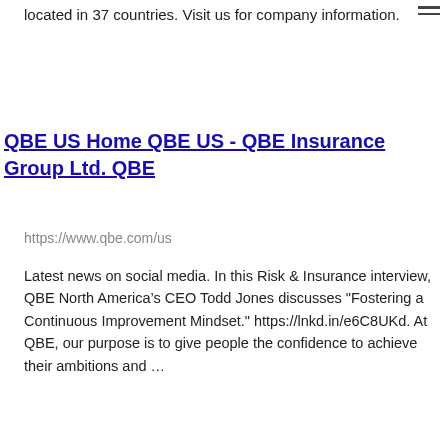located in 37 countries. Visit us for company information.
QBE US Home QBE US - QBE Insurance Group Ltd. QBE
https://www.qbe.com/us
Latest news on social media. In this Risk & Insurance interview, QBE North America’s CEO Todd Jones discusses "Fostering a Continuous Improvement Mindset." https://lnkd.in/e6C8UKd. At QBE, our purpose is to give people the confidence to achieve their ambitions and …